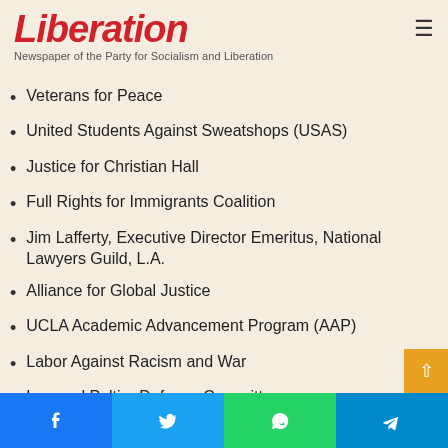Liberation — Newspaper of the Party for Socialism and Liberation
Veterans for Peace
United Students Against Sweatshops (USAS)
Justice for Christian Hall
Full Rights for Immigrants Coalition
Jim Lafferty, Executive Director Emeritus, National Lawyers Guild, L.A.
Alliance for Global Justice
UCLA Academic Advancement Program (AAP)
Labor Against Racism and War
Leonard Peltier Defense Committee
Prof. Eric Mar, Former San Francisco Board of